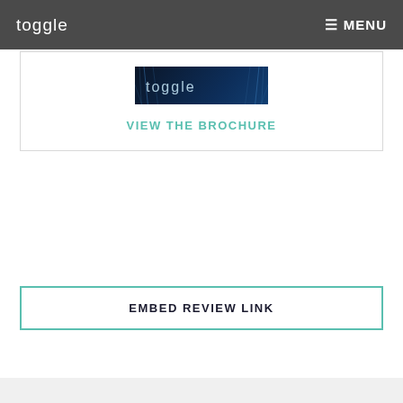toggle   MENU
[Figure (illustration): Book cover showing 'toggle' logo and 'ROBERT ABATE' text over a blue futuristic city/architecture background with light streaks]
VIEW THE BROCHURE
EMBED REVIEW LINK